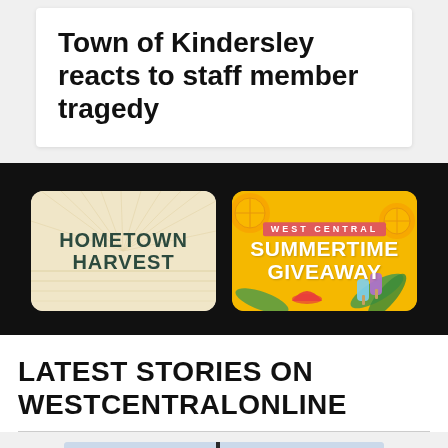Town of Kindersley reacts to staff member tragedy
[Figure (illustration): Hometown Harvest promotional banner with rural field illustration and dark green text on cream background]
[Figure (illustration): West Central Summertime Giveaway promotional banner with yellow background, citrus fruits, watermelon, and tropical leaves]
LATEST STORIES ON WESTCENTRALONLINE
[Figure (photo): Partially visible outdoor photo, appears to show a pole or structure against a sky background]